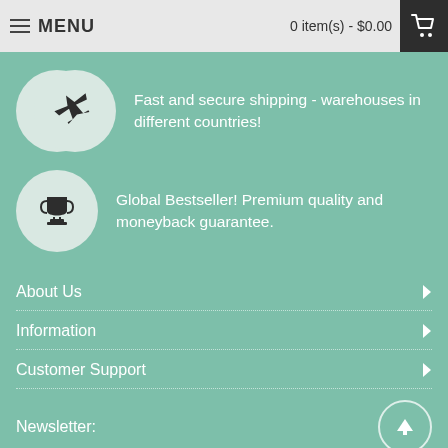MENU   0 item(s) - $0.00
Fast and secure shipping - warehouses in different countries!
Global Bestseller! Premium quality and moneyback guarantee.
About Us
Information
Customer Support
Newsletter: